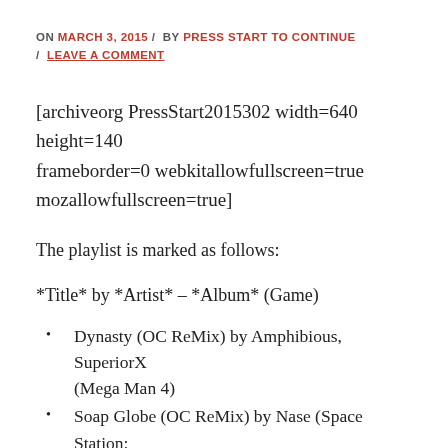ON MARCH 3, 2015 / BY PRESS START TO CONTINUE / LEAVE A COMMENT
[archiveorg PressStart2015302 width=640 height=140 frameborder=0 webkitallowfullscreen=true mozallowfullscreen=true]
The playlist is marked as follows:
*Title* by *Artist* – *Album* (Game)
Dynasty (OC ReMix) by Amphibious, SuperiorX (Mega Man 4)
Soap Globe (OC ReMix) by Nase (Space Station: